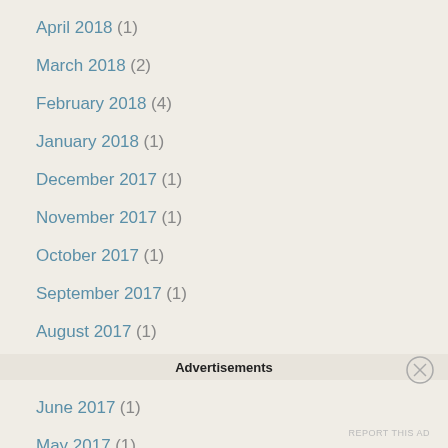April 2018 (1)
March 2018 (2)
February 2018 (4)
January 2018 (1)
December 2017 (1)
November 2017 (1)
October 2017 (1)
September 2017 (1)
August 2017 (1)
July 2017 (1)
June 2017 (1)
May 2017 (1)
Advertisements